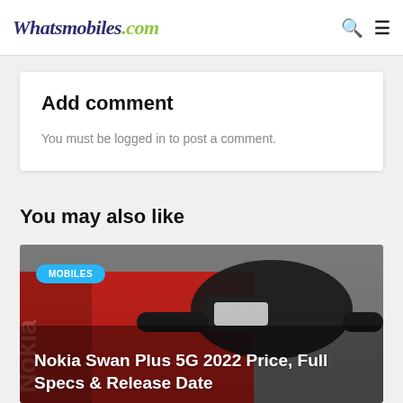Whatsmobiles.com
Add comment
You must be logged in to post a comment.
You may also like
[Figure (photo): Nokia Swan Plus 5G 2022 smartphone with fitness band on top of red Nokia box. Category badge: MOBILES. Article title: Nokia Swan Plus 5G 2022 Price, Full Specs & Release Date]